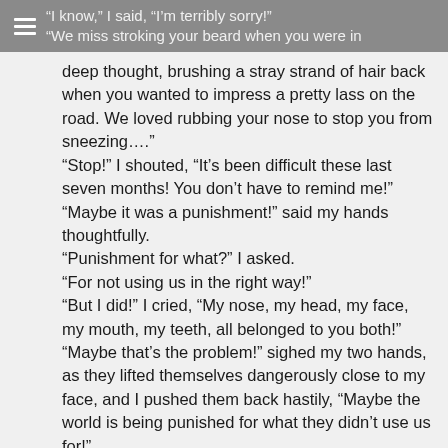“I know,” I said, “I’m terribly sorry!” “We miss stroking your beard when you were in
deep thought, brushing a stray strand of hair back when you wanted to impress a pretty lass on the road. We loved rubbing your nose to stop you from sneezing….” “Stop!” I shouted, “It’s been difficult these last seven months! You don’t have to remind me!” “Maybe it was a punishment!” said my hands thoughtfully. “Punishment for what?” I asked. “For not using us in the right way!” “But I did!” I cried, “My nose, my head, my face, my mouth, my teeth, all belonged to you both!” “Maybe that’s the problem!” sighed my two hands, as they lifted themselves dangerously close to my face, and I pushed them back hastily, “Maybe the world is being punished for what they didn’t use us for!” I watched as my hands actually looked at each other and nodded in agreement. “We were